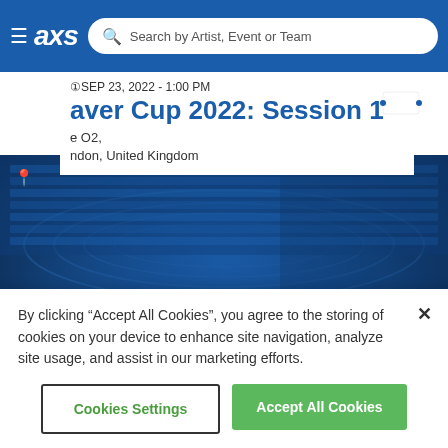≡ axs  Search for Artist, Event or Team
SEP 23, 2022 - 1:00 PM
aver Cup 2022: Session 1
e O2,
ndon, United Kingdom
[Figure (photo): Stadium crowd with blue tint overlay, hero banner for event page]
Get Ready
Prepare for your night out with these options:
By clicking "Accept All Cookies", you agree to the storing of cookies on your device to enhance site navigation, analyze site usage, and assist in our marketing efforts.
Cookies Settings
Accept All Cookies